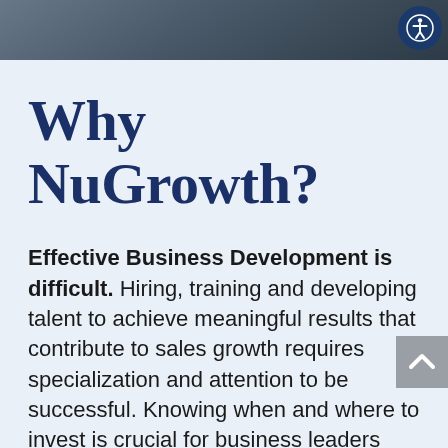[Figure (photo): Dark photo strip at top of page showing blurred background scene]
Why NuGrowth?
Effective Business Development is difficult. Hiring, training and developing talent to achieve meaningful results that contribute to sales growth requires specialization and attention to be successful. Knowing when and where to invest is crucial for business leaders